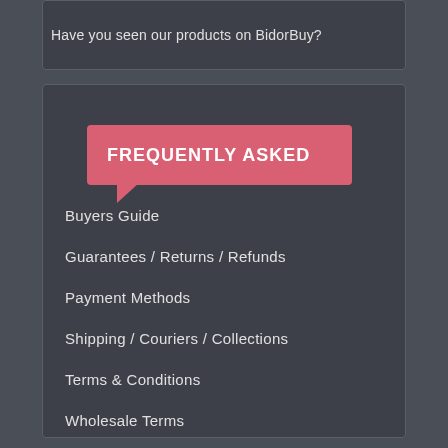Have you seen our products on BidorBuy?
FREQUENTLY ASKED
Buyers Guide
Guarantees / Returns / Refunds
Payment Methods
Shipping / Couriers / Collections
Terms & Conditions
Wholesale Terms